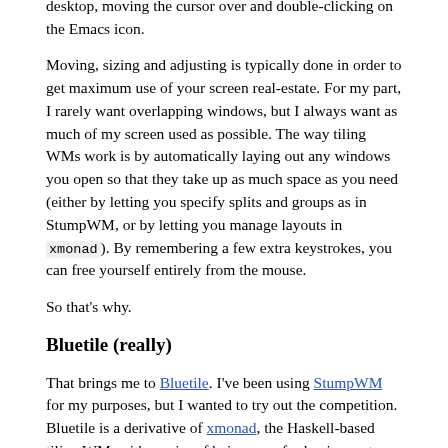these is faster than grabbing the mouse, getting to your desktop, moving the cursor over and double-clicking on the Emacs icon.
Moving, sizing and adjusting is typically done in order to get maximum use of your screen real-estate. For my part, I rarely want overlapping windows, but I always want as much of my screen used as possible. The way tiling WMs work is by automatically laying out any windows you open so that they take up as much space as you need (either by letting you specify splits and groups as in StumpWM, or by letting you manage layouts in xmonad). By remembering a few extra keystrokes, you can free yourself entirely from the mouse.
So that's why.
Bluetile (really)
That brings me to Bluetile. I've been using StumpWM for my purposes, but I wanted to try out the competition. Bluetile is a derivative of xmonad, the Haskell-based tiling WM, with an aim of being easy for beginners to get into. They do this, kind of ironically,